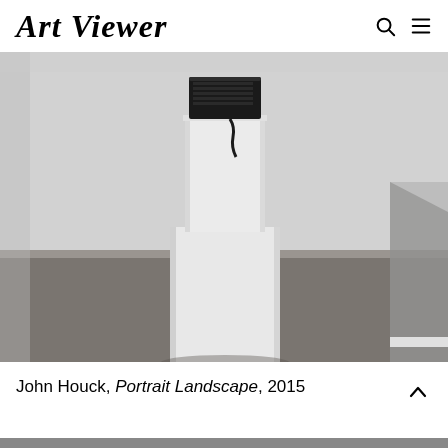Art Viewer
[Figure (photo): Gallery installation photo showing a white pedestal with a black electronic device on top, set in a white-walled gallery space with dark wood floor.]
John Houck, Portrait Landscape, 2015